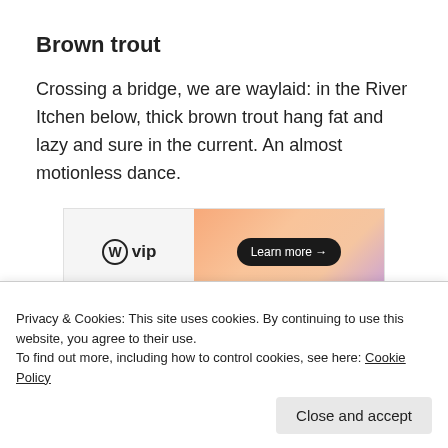Brown trout
Crossing a bridge, we are waylaid: in the River Itchen below, thick brown trout hang fat and lazy and sure in the current. An almost motionless dance.
[Figure (other): WordPress VIP advertisement banner with logo on left and 'Learn more →' button on orange/pink gradient background on right. 'REPORT THIS AD' text in bottom right corner.]
Privacy & Cookies: This site uses cookies. By continuing to use this website, you agree to their use.
To find out more, including how to control cookies, see here: Cookie Policy
Close and accept